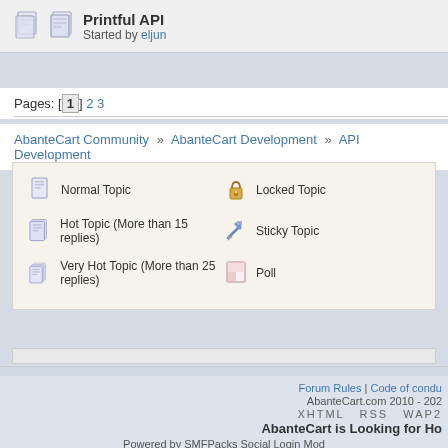Printful API
Started by eljun
Pages: [1] 2 3
AbanteCart Community » AbanteCart Development » API Development
Normal Topic | Hot Topic (More than 15 replies) | Very Hot Topic (More than 25 replies) | Locked Topic | Sticky Topic | Poll
Forum Rules | Code of condu...
AbanteCart.com 2010 - 202...
XHTML   RSS   WAP2
AbanteCart is Looking for Ho...
Powered by SMFPacks Social Login Mod